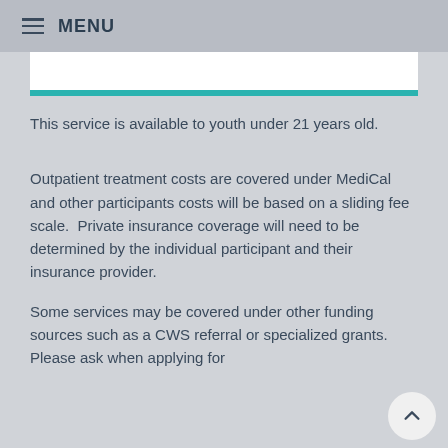MENU
This service is available to youth under 21 years old.
Outpatient treatment costs are covered under MediCal and other participants costs will be based on a sliding fee scale.  Private insurance coverage will need to be determined by the individual participant and their insurance provider.
Some services may be covered under other funding sources such as a CWS referral or specialized grants.  Please ask when applying for